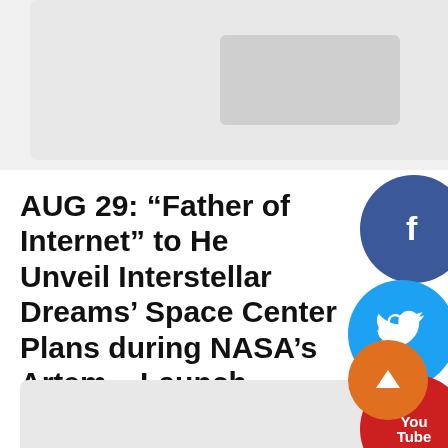[Figure (screenshot): Top card placeholder image area with grey background and lighter grey rectangle in center]
AUG 29: “Father of Internet” to Help Unveil Interstellar Dreams’ Space Center Plans during NASA’s Artemis Launch Viewing Event
MetroLatinoUSA   36 mins ago
Centers at GMU and Soon Reston to Inspire and Train Workforce --(BUSINESS WIRE)--#Artemis--Interstellar D... WHAT Internet co-founder Vint Cerf will join Interstellar Dr...